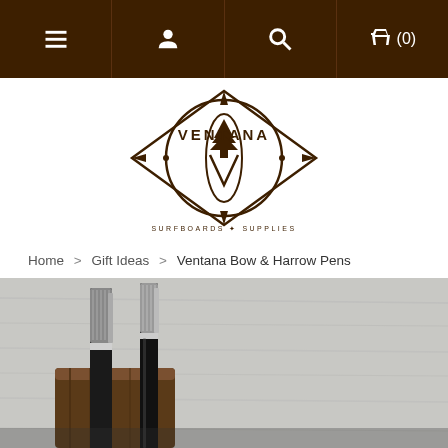Navigation bar with menu, account, search, and cart (0) icons
[Figure (logo): Ventana Surfboards & Supplies logo — circular badge with surfboard and tree, brown color]
Home > Gift Ideas > Ventana Bow & Harrow Pens
[Figure (photo): Close-up photo of Ventana Bow & Harrow pens resting on a wooden block against a rustic wood background. Metal knurled pens with dark bodies.]